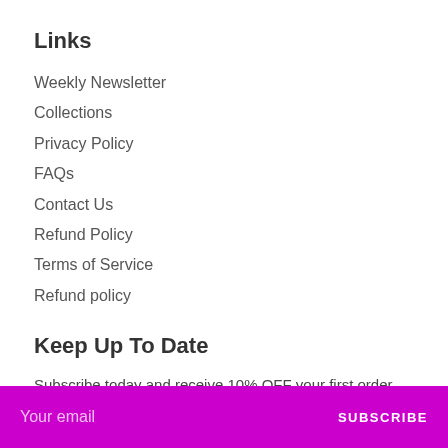Links
Weekly Newsletter
Collections
Privacy Policy
FAQs
Contact Us
Refund Policy
Terms of Service
Refund policy
Keep Up To Date
Subscribe today and receive 10% OFF your first order. Discount code sent to your inbox.
Your email  SUBSCRIBE